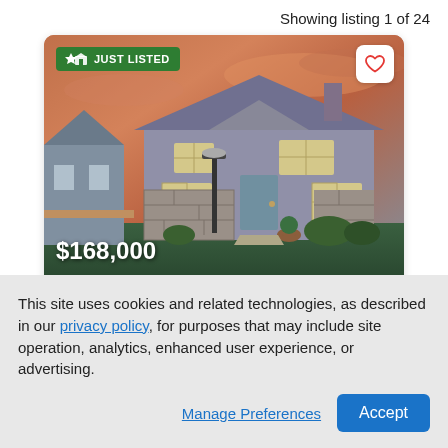Showing listing 1 of 24
[Figure (photo): Photo of a two-story suburban house with gray siding and stone facade, lit windows, under a dramatic orange-pink sunset sky. Shows a street lamp in front. Price overlay '$168,000' in white bold text at bottom-left. 'JUST LISTED' badge in green at top-left. Heart/favorite icon button at top-right.]
275 Carmel Woods Dr
This site uses cookies and related technologies, as described in our privacy policy, for purposes that may include site operation, analytics, enhanced user experience, or advertising.
Manage Preferences
Accept